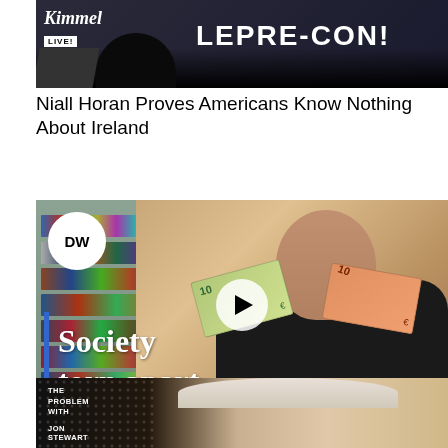[Figure (screenshot): Jimmy Kimmel Live video thumbnail with 'LEPRE-CON!' text overlay on dark background]
Niall Horan Proves Americans Know Nothing About Ireland
[Figure (screenshot): DW Documentary video thumbnail showing a man holding Euro banknotes with 'Society torn apart' text overlay and DW logo]
The consequences of injustice | DW Documentary
[Figure (screenshot): The Problem with Jon Stewart video thumbnail showing an older man's face on dark background with show logo]